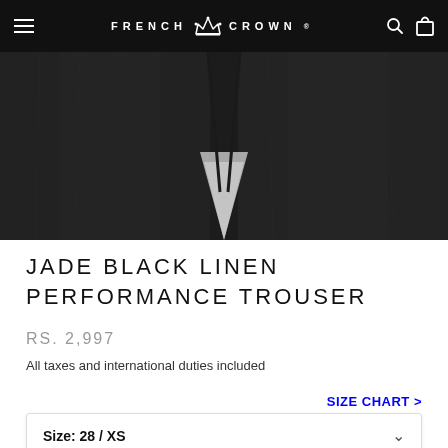FRENCH CROWN
[Figure (photo): Close-up photo of dark jade black linen trouser fabric, showing the crotch/leg area. The fabric is a dark charcoal/black color with subtle texture visible.]
JADE BLACK LINEN PERFORMANCE TROUSER
RS. 2,997
All taxes and international duties included
SIZE CHART >
Size: 28 / XS